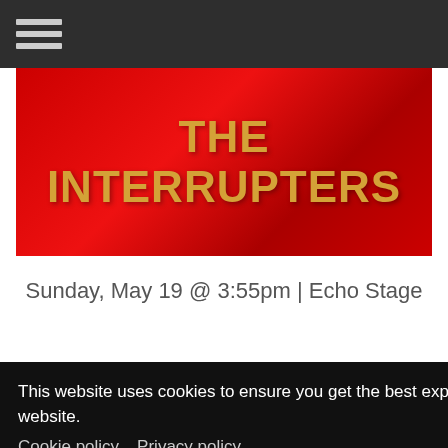[Figure (photo): Red banner image with bold golden text reading THE INTERRUPTERS]
Sunday, May 19 @ 3:55pm | Echo Stage
This website uses cookies to ensure you get the best experience on our website. Cookie policy  Privacy policy
Got it!